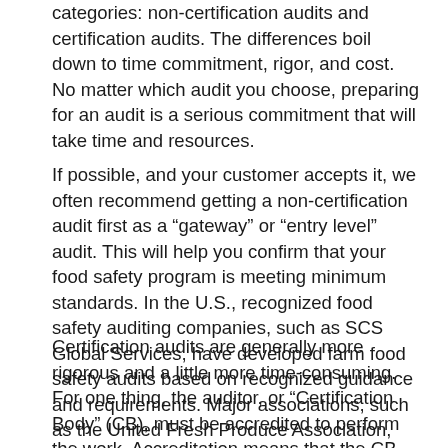categories: non-certification audits and certification audits. The differences boil down to time commitment, rigor, and cost. No matter which audit you choose, preparing for an audit is a serious commitment that will take time and resources.
If possible, and your customer accepts it, we often recommend getting a non-certification audit first as a “gateway” or “entry level” audit. This will help you confirm that your food safety program is meeting minimum standards. In the U.S., recognized food safety auditing companies, such as SCS Global Services, have developed farm food safety audits based on recognized guidance and requirements. Major associations, such as the United Fresh Produce Association, have also developed farm food safety audits, such as the Harmonized Audit for Field Operations and Harvesting.
Certification audits are generally more rigorous and a little more time-consuming. For one thing, the auditor, or “Certification Body” (CB), must be accredited to perform the work. Accreditation means that the CB also gets audited to